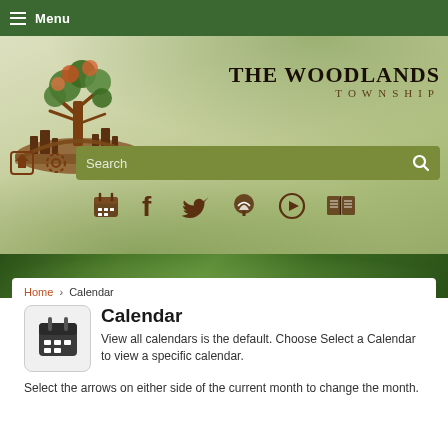Menu
[Figure (logo): The Woodlands Township logo with tree illustration and city skyline, with text THE WOODLANDS TOWNSHIP]
[Figure (screenshot): Search bar with green background, share icon, settings icon, and social/utility icons row (calendar, Facebook, Twitter, tree/app, play, book)]
[Figure (photo): Green forest/trees banner image]
Home › Calendar
Calendar
View all calendars is the default. Choose Select a Calendar to view a specific calendar.
Select the arrows on either side of the current month to change the month.